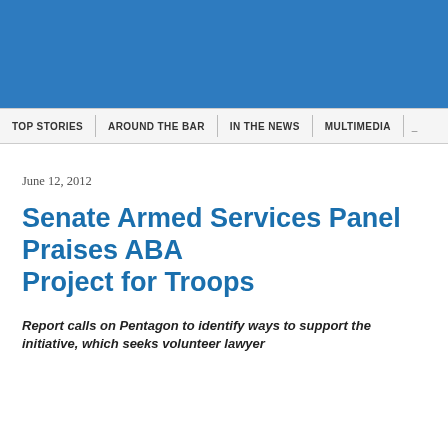[Figure (other): Blue header banner area for website navigation]
TOP STORIES | AROUND THE BAR | IN THE NEWS | MULTIMEDIA
June 12, 2012
Senate Armed Services Panel Praises ABA Project for Troops
Report calls on Pentagon to identify ways to support the initiative, which seeks volunteer lawyer